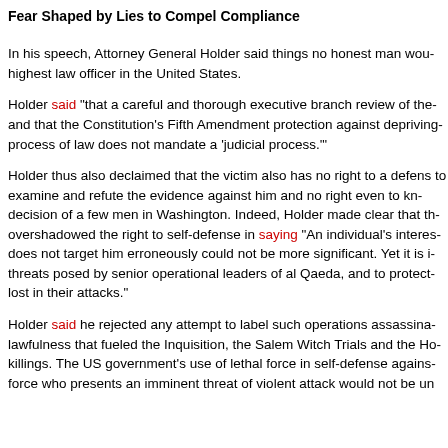Fear Shaped by Lies to Compel Compliance
In his speech, Attorney General Holder said things no honest man wou... highest law officer in the United States.
Holder said "that a careful and thorough executive branch review of the... and that the Constitution’s Fifth Amendment protection against depriving... process of law does not mandate a ‘judicial process.’"
Holder thus also declaimed that the victim also has no right to a defens... to examine and refute the evidence against him and no right even to kn... decision of a few men in Washington. Indeed, Holder made clear that th... overshadowed the right to self-defense in saying “An individual’s interes... does not target him erroneously could not be more significant. Yet it is i... threats posed by senior operational leaders of al Qaeda, and to protect... lost in their attacks.”
Holder said he rejected any attempt to label such operations assassina... lawfulness that fueled the Inquisition, the Salem Witch Trials and the Ho... killings. The US government’s use of lethal force in self-defense agains... force who presents an imminent threat of violent attack would not be un...